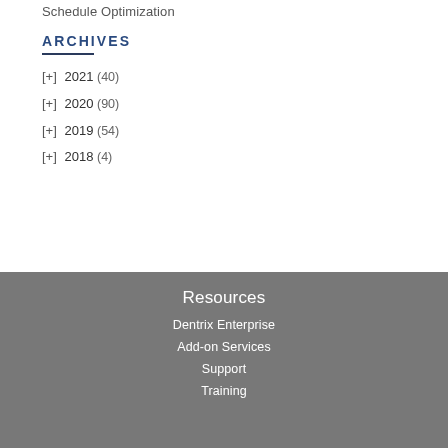Schedule Optimization
ARCHIVES
[+] 2021 (40)
[+] 2020 (90)
[+] 2019 (54)
[+] 2018 (4)
Resources
Dentrix Enterprise
Add-on Services
Support
Training